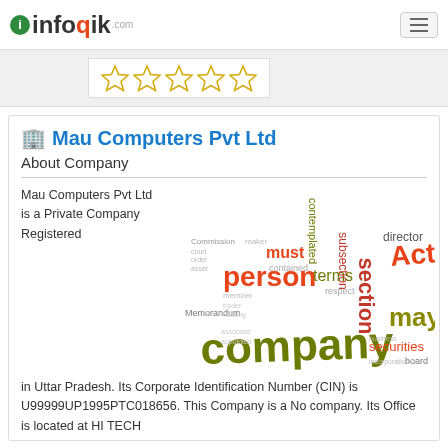infoqik.com
[Figure (other): Five empty gold star rating icons in a white box on a grey background]
Mau Computers Pvt Ltd
About Company
[Figure (infographic): Word cloud with legal/company terms: company (largest, olive), section, may, Act, person, terms, must, contemplated, subsection, securities, director, Memorandum, etc.]
Mau Computers Pvt Ltd is a Private Company Registered in Uttar Pradesh. Its Corporate Identification Number (CIN) is U99999UP1995PTC018656. This Company is a No company. Its Office is located at HI TECH ...